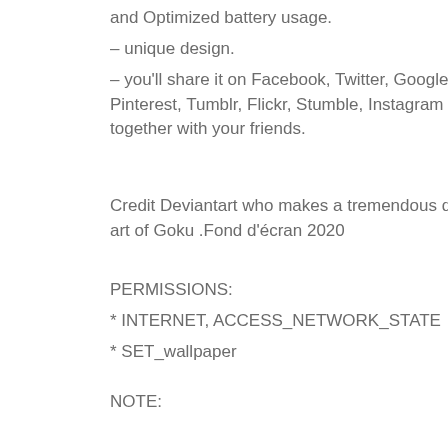and Optimized battery usage.
– unique design.
– you'll share it on Facebook, Twitter, Google+, Pinterest, Tumblr, Flickr, Stumble, Instagram … together with your friends.
Credit Deviantart who makes a tremendous digital art of Goku .Fond d'écran 2020
PERMISSIONS:
* INTERNET, ACCESS_NETWORK_STATE
* SET_wallpaper
NOTE:
This is an Unofficial App. All trademarks and copyright protected to the respective owners.
DISCLAIMER:
All logos/images/names are copyrights of their